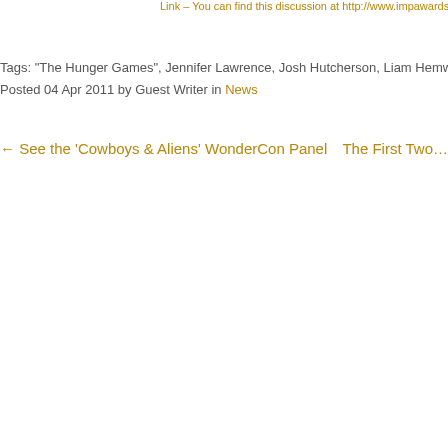Link – You can find this discussion at http://www.impawardson.com/deja…
Tags: "The Hunger Games", Jennifer Lawrence, Josh Hutcherson, Liam Hemworth
Posted 04 Apr 2011 by Guest Writer in News
← See the 'Cowboys & Aliens' WonderCon Panel
The First Two…